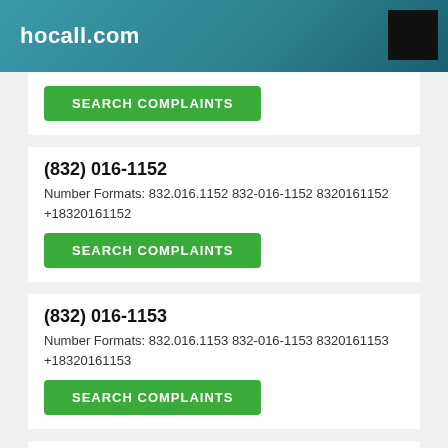hocall.com
SEARCH COMPLAINTS
(832) 016-1152
Number Formats: 832.016.1152 832-016-1152 8320161152 +18320161152
SEARCH COMPLAINTS
(832) 016-1153
Number Formats: 832.016.1153 832-016-1153 8320161153 +18320161153
SEARCH COMPLAINTS
(832) 016-1154
Number Formats: 832.016.1154 832-016-1154 8320161154 +18320161154